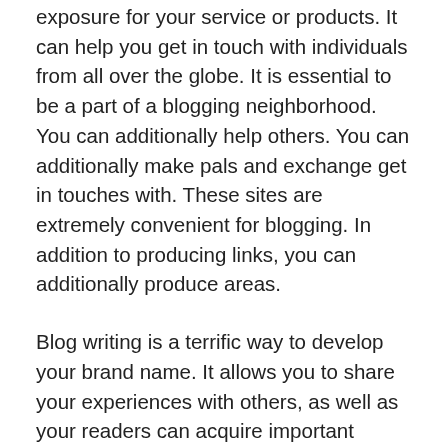exposure for your service or products. It can help you get in touch with individuals from all over the globe. It is essential to be a part of a blogging neighborhood. You can additionally help others. You can additionally make pals and exchange get in touches with. These sites are extremely convenient for blogging. In addition to producing links, you can additionally produce areas.
Blog writing is a terrific way to develop your brand name. It allows you to share your experiences with others, as well as your readers can acquire important insights. It's the ideal method to promote your service. It's likewise a terrific method to make your name and also your product and services understood to a larger target market. It is an effective